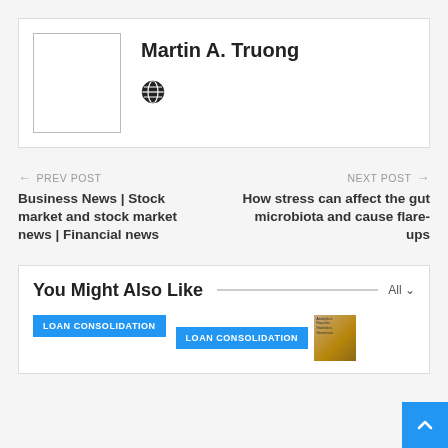Martin A. Truong
← PREV POST
Business News | Stock market and stock market news | Financial news
NEXT POST →
How stress can affect the gut microbiota and cause flare-ups
You Might Also Like
LOAN CONSOLIDATION
LOAN CONSOLIDATION